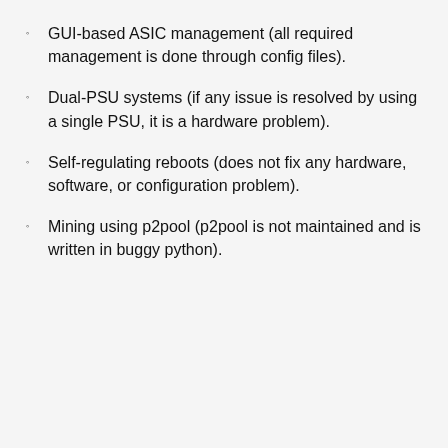GUI-based ASIC management (all required management is done through config files).
Dual-PSU systems (if any issue is resolved by using a single PSU, it is a hardware problem).
Self-regulating reboots (does not fix any hardware, software, or configuration problem).
Mining using p2pool (p2pool is not maintained and is written in buggy python).